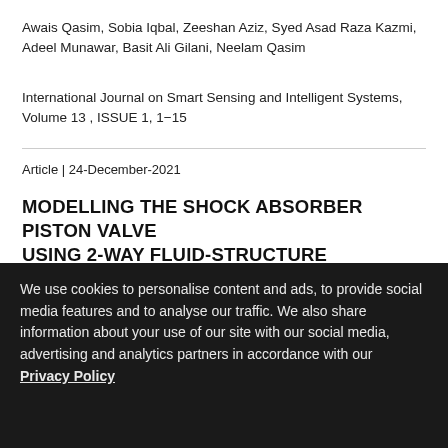Awais Qasim, Sobia Iqbal, Zeeshan Aziz, Syed Asad Raza Kazmi, Adeel Munawar, Basit Ali Gilani, Neelam Qasim
International Journal on Smart Sensing and Intelligent Systems, Volume 13 , ISSUE 1, 1−15
Article | 24-December-2021
MODELLING THE SHOCK ABSORBER PISTON VALVE USING 2-WAY FLUID-STRUCTURE INTERACTION
The aim of this study is to examine the strongly coupled Fluid-Structure Interaction approach as a comprehensive method of predicting the performance of the shock absorber piston valve. For this purpose, numerical simulation sand experimental testing are carried out. The coupled CFD-FEA numerical model described in this
We use cookies to personalise content and ads, to provide social media features and to analyse our traffic. We also share information about your use of our site with our social media, advertising and analytics partners in accordance with our Privacy Policy